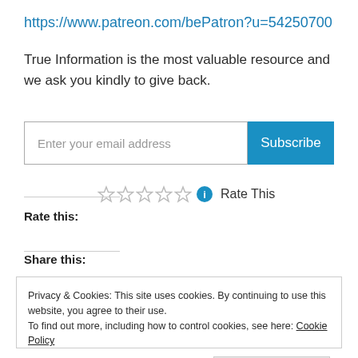https://www.patreon.com/bePatron?u=54250700
True Information is the most valuable resource and we ask you kindly to give back.
[Figure (other): Email subscription form with input field 'Enter your email address' and blue 'Subscribe' button]
[Figure (other): Star rating widget with 5 empty stars, info icon, and 'Rate This' label. Below: 'Rate this:' label.]
Share this:
Privacy & Cookies: This site uses cookies. By continuing to use this website, you agree to their use.
To find out more, including how to control cookies, see here: Cookie Policy
Close and accept